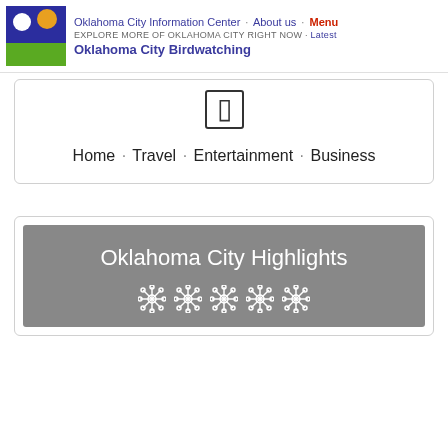Oklahoma City Information Center · About us · Menu
EXPLORE MORE OF OKLAHOMA CITY RIGHT NOW · Latest
Oklahoma City Birdwatching
[Figure (other): Navigation breadcrumb with bracket/rectangle icon and links: Home · Travel · Entertainment · Business]
[Figure (other): Oklahoma City Highlights banner with grey background and decorative snowflake/flower icons at bottom]